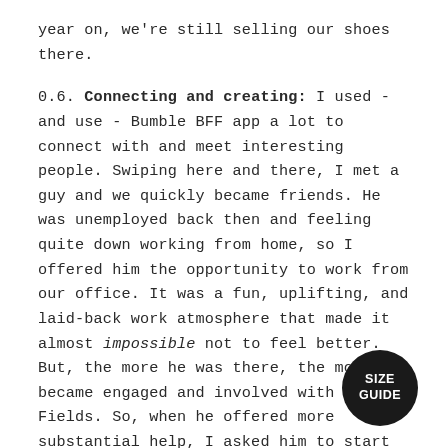year on, we're still selling our shoes there.
0.6. Connecting and creating: I used - and use - Bumble BFF app a lot to connect with and meet interesting people. Swiping here and there, I met a guy and we quickly became friends. He was unemployed back then and feeling quite down working from home, so I offered him the opportunity to work from our office. It was a fun, uplifting, and laid-back work atmosphere that made it almost impossible not to feel better. But, the more he was there, the more he became engaged and involved with Unreal Fields. So, when he offered more substantial help, I asked him to start reaching out to investors and that's how he became our Investor Relations Manager. Not even a week later he stopped by my desk and said "What if I invest the money you need?" I couldn't believe it.
[Figure (other): Black circular badge with white text reading SIZE GUIDE]